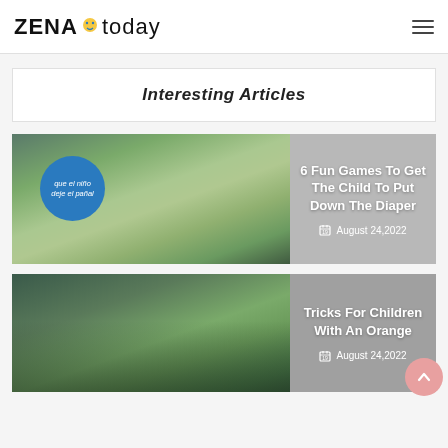ZENA today
Interesting Articles
6 Fun Games To Get The Child To Put Down The Diaper
August 24,2022
Tricks For Children With An Orange
August 24,2022